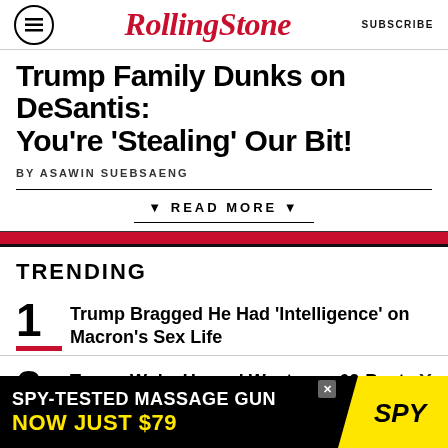RollingStone | SUBSCRIBE
Trump Family Dunks on DeSantis: You're 'Stealing' Our Bit!
BY ASAWIN SUEBSAENG
▼ READ MORE ▼
TRENDING
1 Trump Bragged He Had 'Intelligence' on Macron's Sex Life
2 Trump Woke Up and Went on a 60-Post, QAnon-Fueled Social Media S…
[Figure (other): Advertisement banner: SPY-TESTED MASSAGE GUN NOW JUST $79 with SPY logo on yellow background]